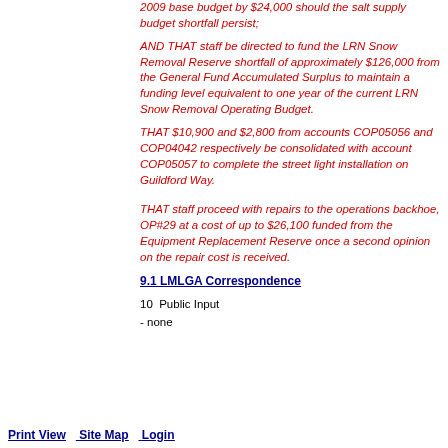2009 base budget by $24,000 should the salt supply budget shortfall persist;
AND THAT staff be directed to fund the LRN Snow Removal Reserve shortfall of approximately $126,000 from the General Fund Accumulated Surplus to maintain a funding level equivalent to one year of the current LRN Snow Removal Operating Budget.
THAT $10,900 and $2,800 from accounts COP05056 and COP04042 respectively be consolidated with account COP05057 to complete the street light installation on Guildford Way.
THAT staff proceed with repairs to the operations backhoe, OP#29 at a cost of up to $26,100 funded from the Equipment Replacement Reserve once a second opinion on the repair cost is received.
9.1  LMLGA Correspondence
10  Public Input
- none
Print View   Site Map   Login